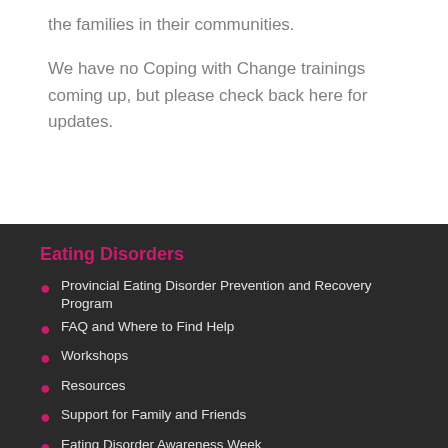the families in their communities.
We have no Coping with Change trainings coming up, but please check back here for updates.
Eating Disorders
Provincial Eating Disorder Prevention and Recovery Program
FAQ and Where to Find Help
Workshops
Resources
Support for Family and Friends
Eating Disorder Awareness Week